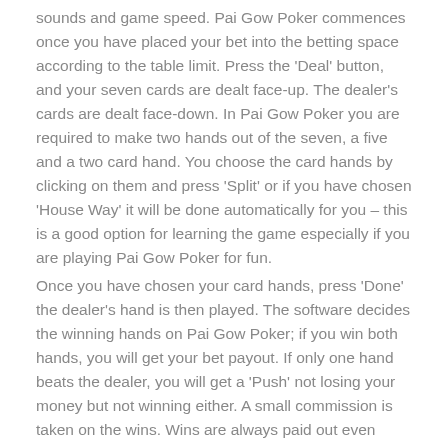sounds and game speed. Pai Gow Poker commences once you have placed your bet into the betting space according to the table limit. Press the 'Deal' button, and your seven cards are dealt face-up. The dealer's cards are dealt face-down. In Pai Gow Poker you are required to make two hands out of the seven, a five and a two card hand. You choose the card hands by clicking on them and press 'Split' or if you have chosen 'House Way' it will be done automatically for you – this is a good option for learning the game especially if you are playing Pai Gow Poker for fun.
Once you have chosen your card hands, press 'Done' the dealer's hand is then played. The software decides the winning hands on Pai Gow Poker; if you win both hands, you will get your bet payout. If only one hand beats the dealer, you will get a 'Push' not losing your money but not winning either. A small commission is taken on the wins. Wins are always paid out even money whatever the winning hands. It is important to remember when sorting your cards that the five-card hand follows standard poker hand rules and has to outrank the two-